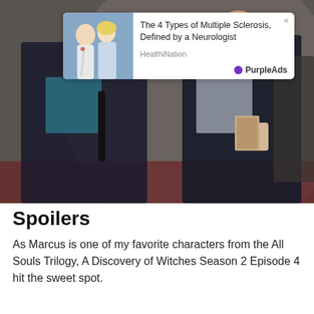[Figure (photo): Two people walking indoors — a woman in a dark coat with a teal patterned blouse carrying a shoulder bag, and a man in a dark jacket over a grey shirt holding a book and a coffee cup. Background shows a large curved wall and red carpet.]
Spoilers
As Marcus is one of my favorite characters from the All Souls Trilogy, A Discovery of Witches Season 2 Episode 4 hit the sweet spot.